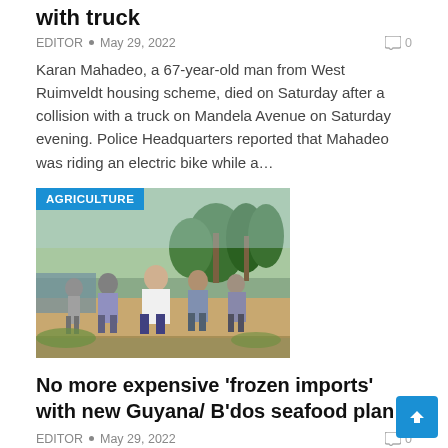with truck
EDITOR • May 29, 2022   0
Karan Mahadeo, a 67-year-old man from West Ruimveldt housing scheme, died on Saturday after a collision with a truck on Mandela Avenue on Saturday evening. Police Headquarters reported that Mahadeo was riding an electric bike while a...
[Figure (photo): Group of people walking outdoors near water, with AGRICULTURE badge overlay]
No more expensive ‘frozen imports’ with new Guyana/ B’dos seafood plan
EDITOR • May 29, 2022   0
A new seafood farming plan between Guyana and Barbados could see tourist-dependent countries cutting an expensive import bill, Prime Minister of Barbados Mia Mottley has said. The Prime Minister, while speaking at the opening of a pond...